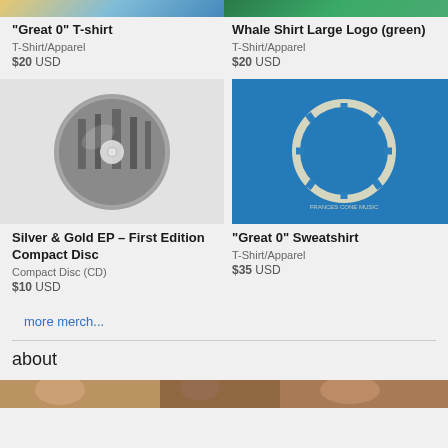[Figure (photo): Top-cropped image of Great 0 T-shirt (blue/tan colors)]
[Figure (photo): Top-cropped image of Whale Shirt Large Logo green t-shirt]
"Great 0" T-shirt
T-Shirt/Apparel
$20 USD
Whale Shirt Large Logo (green)
T-Shirt/Apparel
$20 USD
[Figure (photo): Silver & Gold EP CD disc on light gray background]
[Figure (photo): Great 0 Sweatshirt in blue with circular logo design]
Silver & Gold EP – First Edition Compact Disc
Compact Disc (CD)
$10 USD
"Great 0" Sweatshirt
T-Shirt/Apparel
$35 USD
more merch...
about
[Figure (photo): Bottom partial image showing people/band photo (warm tones)]